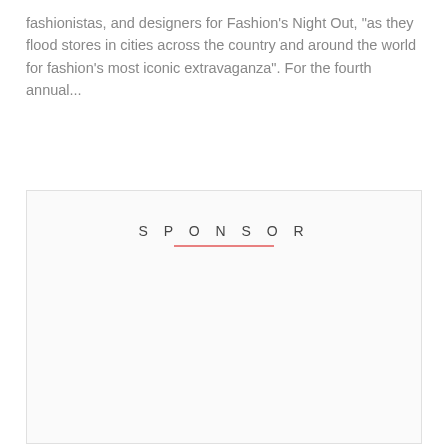fashionistas, and designers for Fashion's Night Out, "as they flood stores in cities across the country and around the world for fashion's most iconic extravaganza". For the fourth annual...
[Figure (other): A sponsor advertisement box with the word SPONSOR centered at the top with a pink/salmon colored underline, and otherwise blank white space below.]